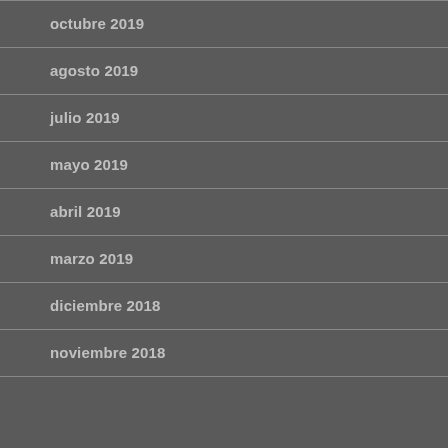octubre 2019
agosto 2019
julio 2019
mayo 2019
abril 2019
marzo 2019
diciembre 2018
noviembre 2018